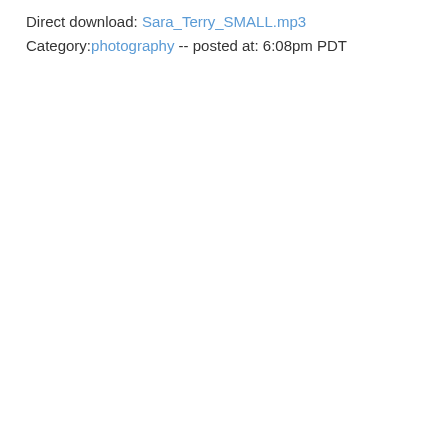Direct download: Sara_Terry_SMALL.mp3
Category:photography -- posted at: 6:08pm PDT